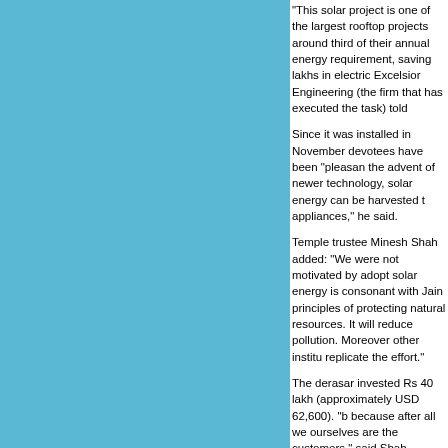"This solar project is one of the largest rooftop projects around third of their annual energy requirement, saving lakhs in electric Excelsior Engineering (the firm that has executed the task) told
Since it was installed in November devotees have been "pleasan the advent of newer technology, solar energy can be harvested appliances," he said.
Temple trustee Minesh Shah added: "We were not motivated by adopt solar energy is consonant with Jain principles of protecting natural resources. It will reduce pollution. Moreover other institu replicate the effort."
The derasar invested Rs 40 lakh (approximately USD 62,600). " because after all we ourselves are the customers," said Shah.
[Figure (photo): Photograph of a Jain temple complex (derasar) on a green hillside with white spired structures visible among trees, with a body of water in the foreground.]
In 2008 the Jain statement on the environment referred to Jai ecology".
"Jainism is fundamentally a religion of ecology and has turned enabled Jains to create an environment-friendly value system